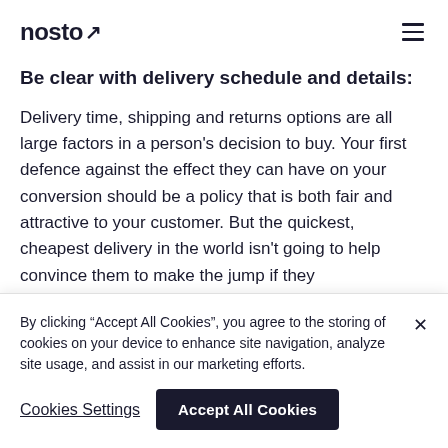nosto
Be clear with delivery schedule and details:
Delivery time, shipping and returns options are all large factors in a person's decision to buy. Your first defence against the effect they can have on your conversion should be a policy that is both fair and attractive to your customer. But the quickest, cheapest delivery in the world isn't going to help convince them to make the jump if they
By clicking “Accept All Cookies”, you agree to the storing of cookies on your device to enhance site navigation, analyze site usage, and assist in our marketing efforts.
Cookies Settings
Accept All Cookies